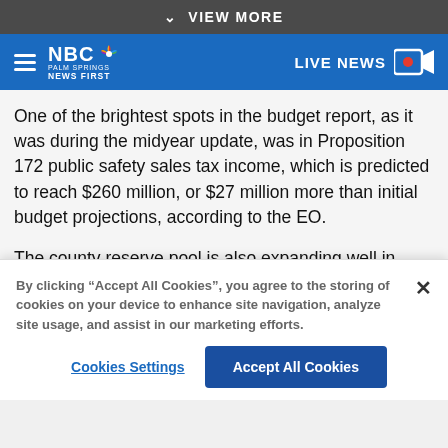VIEW MORE
[Figure (logo): NBC Palm Springs News First logo with hamburger menu icon on left and LIVE NEWS icon on right, on blue navigation bar]
One of the brightest spots in the budget report, as it was during the midyear update, was in Proposition 172 public safety sales tax income, which is predicted to reach $260 million, or $27 million more than initial budget projections, according to the EO.
The county reserve pool is also expanding well in excess of what had been predicted, with projections now that it will plateau at $368 million by the end of the current fiscal
By clicking “Accept All Cookies”, you agree to the storing of cookies on your device to enhance site navigation, analyze site usage, and assist in our marketing efforts.
Cookies Settings
Accept All Cookies